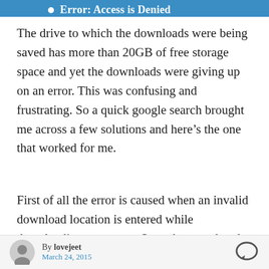Error: Access is Denied
The drive to which the downloads were being saved has more than 20GB of free storage space and yet the downloads were giving up on an error. This was confusing and frustrating. So a quick google search brought me across a few solutions and here’s the one that worked for me.
First of all the error is caused when an invalid download location is entered while downloading an torrent. So make sure that the file path is correct and does not contain any additional dots or symbols by mistake.
By lovejeet
March 24, 2015